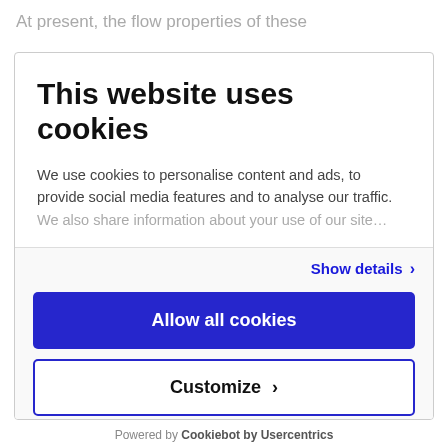At present, the flow properties of these
This website uses cookies
We use cookies to personalise content and ads, to provide social media features and to analyse our traffic. We also share information about your use of our site
Show details ›
Allow all cookies
Customize ›
Powered by Cookiebot by Usercentrics